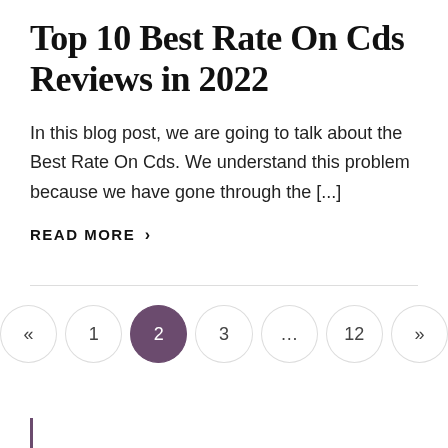Top 10 Best Rate On Cds Reviews in 2022
In this blog post, we are going to talk about the Best Rate On Cds. We understand this problem because we have gone through the [...]
READ MORE ›